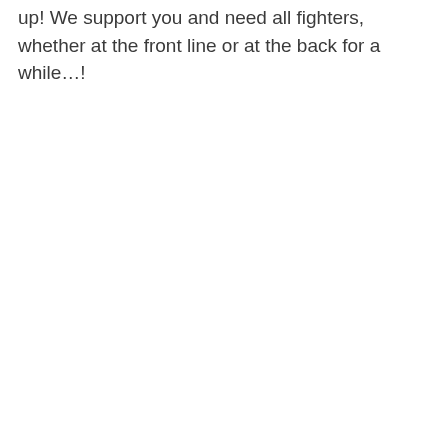up! We support you and need all fighters, whether at the front line or at the back for a while…!